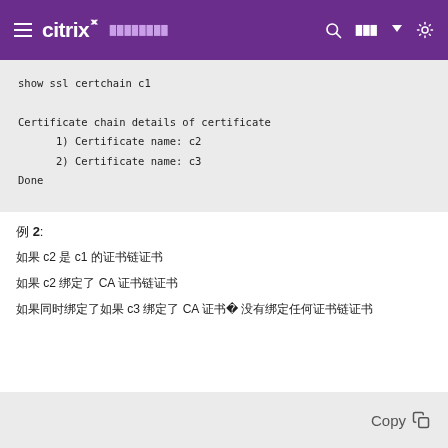citrix
show ssl certchain c1

Certificate chain details of certificate
      1) Certificate name: c2
      2) Certificate name: c3
Done
例 2:
如果 c2 是 c1 的证书链证书
如果 c2 绑定了 CA 证书链证书
如果同时绑定了如果 c3 绑定了 CA 证书而c2 没有绑定任何证书链证书
[Figure (screenshot): Copy button at bottom of code block]